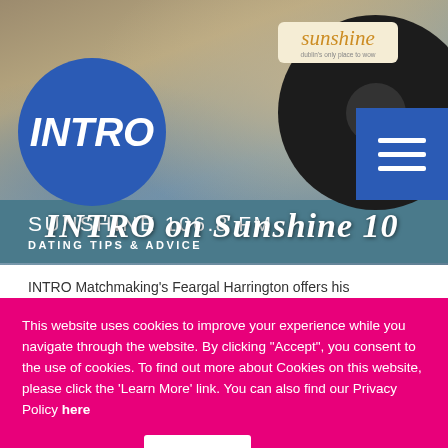[Figure (screenshot): Website screenshot showing INTRO Matchmaking header on Sunshine 106.8 FM page. Blue INTRO circle logo on left, black vinyl disc with Sunshine label on right, hamburger menu button top-right, script text 'INTRO on Sunshine 10' overlaid on hero image. Teal bar below shows 'SUNSHINE 106.8 FM' and 'DATING TIPS & ADVICE'. White content strip shows partial text 'INTRO Matchmaking's Feargal Harrington offers his']
This website uses cookies to improve your experience while you navigate through the website. By clicking “Accept”, you consent to the use of cookies. To find out more about Cookies on this website, please click the 'Learn More' link. You can also find our Privacy Policy here
LEARN MORE
Accept